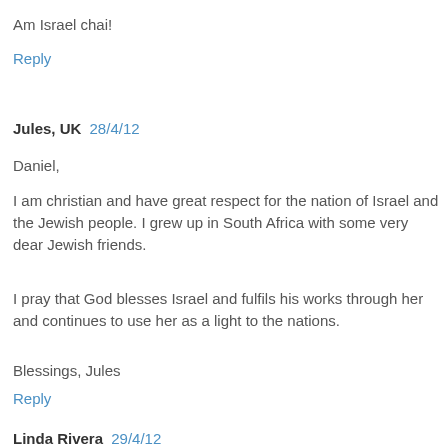Am Israel chai!
Reply
Jules, UK  28/4/12
Daniel,
I am christian and have great respect for the nation of Israel and the Jewish people. I grew up in South Africa with some very dear Jewish friends.
I pray that God blesses Israel and fulfils his works through her and continues to use her as a light to the nations.
Blessings, Jules
Reply
Linda Rivera  29/4/12
It is because of Jews that we KNOW that God exists. And it